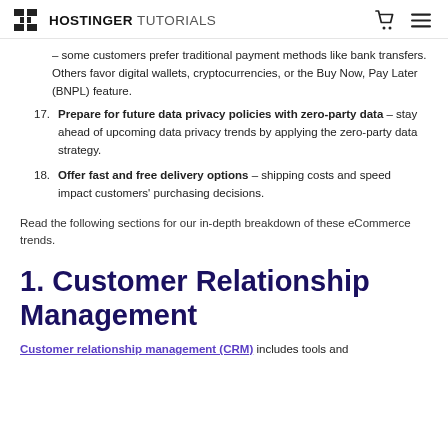HOSTINGER TUTORIALS
– some customers prefer traditional payment methods like bank transfers. Others favor digital wallets, cryptocurrencies, or the Buy Now, Pay Later (BNPL) feature.
17. Prepare for future data privacy policies with zero-party data – stay ahead of upcoming data privacy trends by applying the zero-party data strategy.
18. Offer fast and free delivery options – shipping costs and speed impact customers' purchasing decisions.
Read the following sections for our in-depth breakdown of these eCommerce trends.
1. Customer Relationship Management
Customer relationship management (CRM) includes tools and